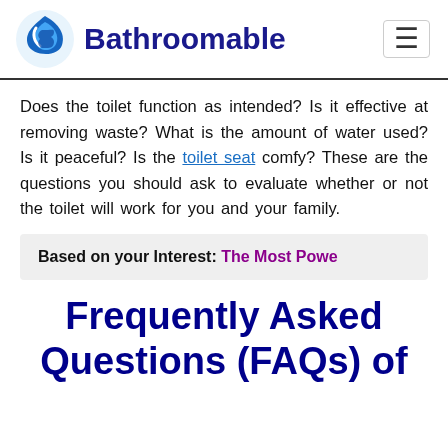Bathroomable
Does the toilet function as intended? Is it effective at removing waste? What is the amount of water used? Is it peaceful? Is the toilet seat comfy? These are the questions you should ask to evaluate whether or not the toilet will work for you and your family.
Based on your Interest: The Most Pow…
Frequently Asked Questions (FAQs) of